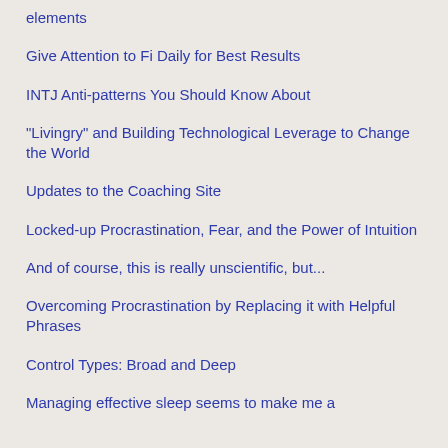elements
Give Attention to Fi Daily for Best Results
INTJ Anti-patterns You Should Know About
"Livingry" and Building Technological Leverage to Change the World
Updates to the Coaching Site
Locked-up Procrastination, Fear, and the Power of Intuition
And of course, this is really unscientific, but...
Overcoming Procrastination by Replacing it with Helpful Phrases
Control Types: Broad and Deep
Managing effective sleep seems to make me a